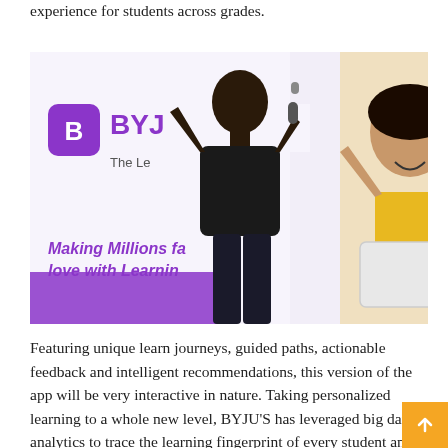experience for students across grades.
[Figure (photo): A presenter speaking on stage with a microphone in front of a BYJU'S branded backdrop that reads 'Making Millions fall in love with Learning', with a smiling young girl visible on the right side of the banner.]
Featuring unique learn journeys, guided paths, actionable feedback and intelligent recommendations, this version of the app will be very interactive in nature. Taking personalized learning to a whole new level, BYJU'S has leveraged big data analytics to trace the learning fingerprint of every student and